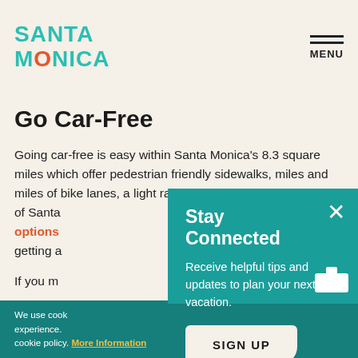SANTA MONICA | MENU
Go Car-Free
Going car-free is easy within Santa Monica's 8.3 square miles which offer pedestrian friendly sidewalks, miles and miles of bike lanes, a light rail connecti... rideshare... of Santa... options... getting a...
If you m...
Stay Connected
Receive helpful tips and updates to plan your next vacation.
SIGN UP
We use cook... experience. cookie policy. More Information